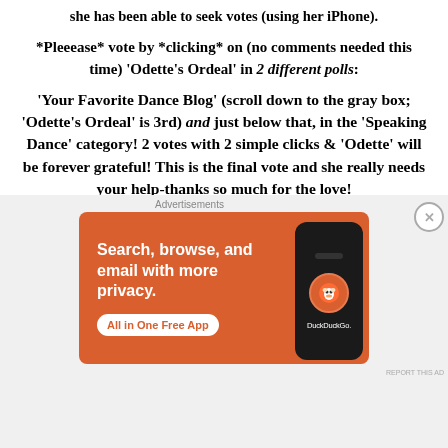she has been able to seek votes (using her iPhone).
*Pleeease* vote by *clicking* on (no comments needed this time) ‘Odette’s Ordeal’ in 2 different polls:
‘Your Favorite Dance Blog’ (scroll down to the gray box; ‘Odette’s Ordeal’ is 3rd) and just below that, in the ‘Speaking Dance’ category! 2 votes with 2 simple clicks & ‘Odette’ will be forever grateful! This is the final vote and she really needs your help-thanks so much for the love! Here’s the link:
[Figure (other): DuckDuckGo advertisement banner: orange background with text 'Search, browse, and email with more privacy. All in One Free App' and a phone graphic showing the DuckDuckGo logo.]